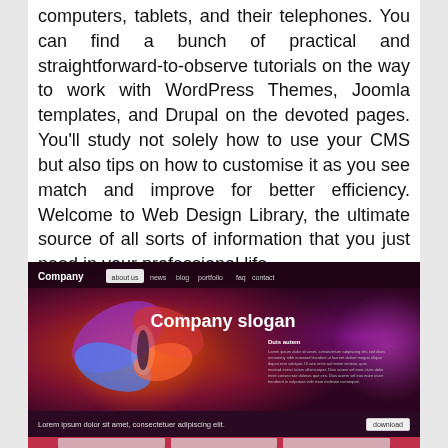computers, tablets, and their telephones. You can find a bunch of practical and straightforward-to-observe tutorials on the way to work with WordPress Themes, Joomla templates, and Drupal on the devoted pages. You'll study not solely how to use your CMS but also tips on how to customise it as you see match and improve for better efficiency. Welcome to Web Design Library, the ultimate source of all sorts of information that you just need in your professional life.
[Figure (screenshot): Screenshot of a website template with dark purple/maroon gradient background, navigation bar with 'Company' logo and links (about us, news, blog, portfolio, faq, contact), a glowing butterfly logo on the left, 'Company slogan' text, body text on the right side, and a download bar at the bottom with 'Lorem ipsum dolor sit amet, consectetuer adipiscing elit.' and a download button.]